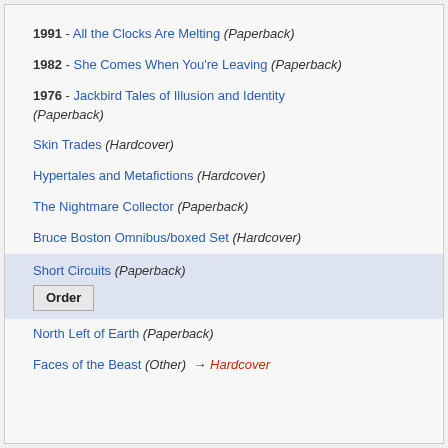1991 - All the Clocks Are Melting (Paperback)
1982 - She Comes When You're Leaving (Paperback)
1976 - Jackbird Tales of Illusion and Identity (Paperback)
Skin Trades (Hardcover)
Hypertales and Metafictions (Hardcover)
The Nightmare Collector (Paperback)
Bruce Boston Omnibus/boxed Set (Hardcover)
Short Circuits (Paperback) [highlighted, with Order button]
North Left of Earth (Paperback)
Faces of the Beast (Other) → Hardcover